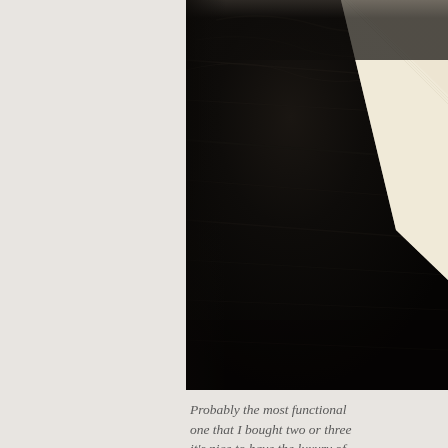[Figure (photo): Close-up photograph of a cream/off-white notebook or notepad resting on a dark black wooden textured surface. The notebook corner is visible at the upper right, diagonal against the dark wood grain background.]
Probably the most functional one that I bought two or three it's nice to have the luxury of